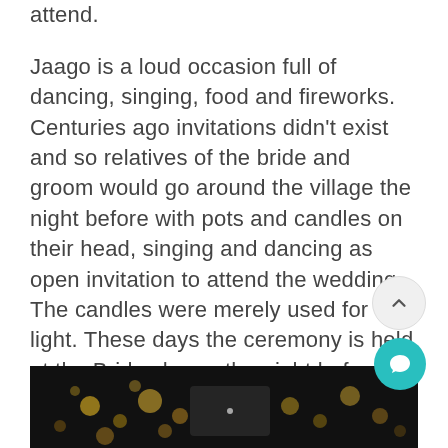attend.
Jaago is a loud occasion full of dancing, singing, food and fireworks. Centuries ago invitations didn't exist and so relatives of the bride and groom would go around the village the night before with pots and candles on their head, singing and dancing as open invitation to attend the wedding. The candles were merely used for light. These days the ceremony is held at the Brides home the night before the wedding.
[Figure (photo): Dark nighttime photo, likely showing lights or fireworks at an event, partially visible at the bottom of the page.]